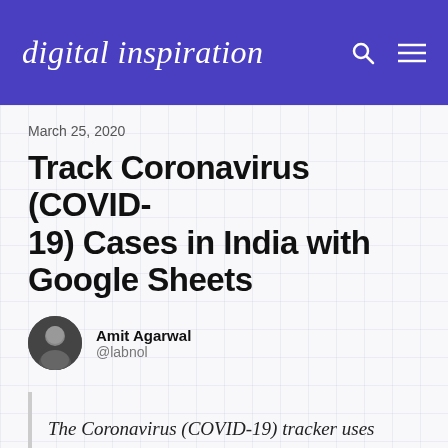digital inspiration
March 25, 2020
Track Coronavirus (COVID-19) Cases in India with Google Sheets
Amit Agarwal
@labnol
The Coronavirus (COVID-19) tracker uses sparklines in Google Sheets to help you visualize the spread of the coronavirus outbreak across